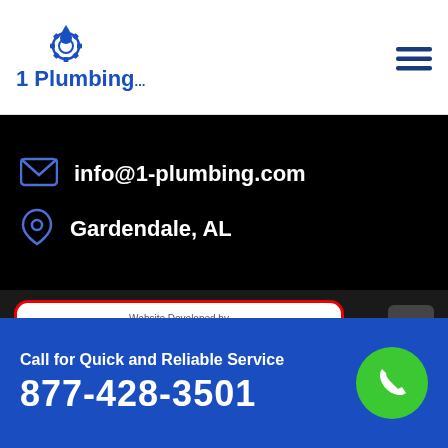[Figure (logo): 1 Plumbing logo with blue water drop and gear icon]
info@1-plumbing.com
Gardendale, AL
[Figure (infographic): Website Developed by A Revolution in Local Business ad card with SEO Page Creator branding, phone +1-214-903-9627, skype ewebcraft, admin@seopagecreator.com, www.seopagecreator.com]
Call for Quick and Reliable Service
877-428-3501